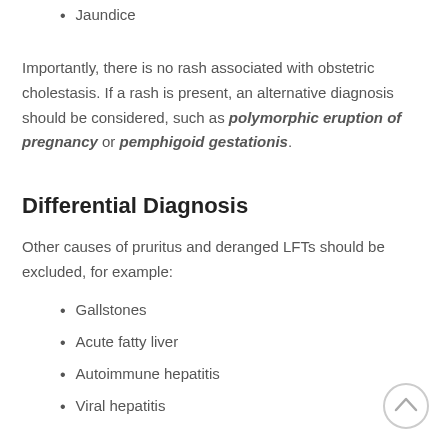Jaundice
Importantly, there is no rash associated with obstetric cholestasis. If a rash is present, an alternative diagnosis should be considered, such as polymorphic eruption of pregnancy or pemphigoid gestationis.
Differential Diagnosis
Other causes of pruritus and deranged LFTs should be excluded, for example:
Gallstones
Acute fatty liver
Autoimmune hepatitis
Viral hepatitis